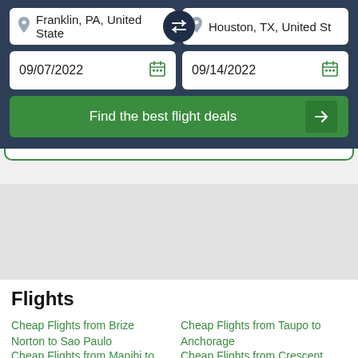[Figure (screenshot): Flight search UI with origin Franklin, PA, United States and destination Houston, TX, United States, departure date 09/07/2022, return date 09/14/2022, and a green 'Find the best flight deals' button]
Flights
Cheap Flights from Brize Norton to Sao Paulo
Cheap Flights from Taupo to Anchorage
Cheap Flights from Manihi to
Cheap Flights from Crescent